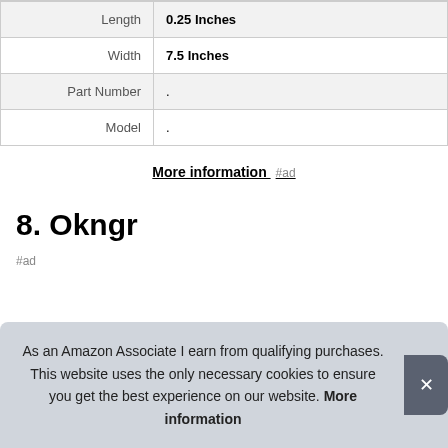| Length | 0.25 Inches |
| Width | 7.5 Inches |
| Part Number | . |
| Model | . |
More information #ad
8. Okngr
#ad
As an Amazon Associate I earn from qualifying purchases. This website uses the only necessary cookies to ensure you get the best experience on our website. More information